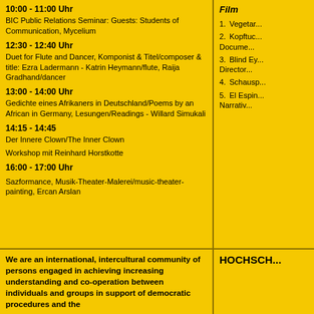10:00 - 11:00 Uhr
BIC Public Relations Seminar: Guests: Students of Communication, Mycelium
12:30 - 12:40 Uhr
Duet for Flute and Dancer, Komponist & Titel/composer & title: Ezra Ladermann - Katrin Heymann/flute, Raija Gradhand/dancer
13:00 - 14:00 Uhr
Gedichte eines Afrikaners in Deutschland/Poems by an African in Germany, Lesungen/Readings - Willard Simukali
14:15 - 14:45
Der Innere Clown/The Inner Clown
Workshop mit Reinhard Horstkotte
16:00 - 17:00 Uhr
Sazformance, Musik-Theater-Malerei/music-theater-painting, Ercan Arslan
Film
1. Vegetar...
2. Kopftuc... Docume...
3. Blind Ey... Director...
4. Schausp...
5. El Espin... Narrativ...
We are an international, intercultural community of persons engaged in achieving increasing understanding and co-operation between individuals and groups in support of democratic procedures and the ...
HOCHSCH...